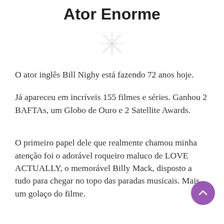Ator Enorme
[Figure (illustration): Decorative star/asterisk ornament in light gray]
O ator inglês Bill Nighy está fazendo 72 anos hoje.
Já apareceu em incríveis 155 filmes e séries. Ganhou 2 BAFTAs, um Globo de Ouro e 2 Satellite Awards.
O primeiro papel dele que realmente chamou minha atenção foi o adorável roqueiro maluco de LOVE ACTUALLY, o memorável Billy Mack, disposto a tudo para chegar no topo das paradas musicais. Mais um golaço do filme.